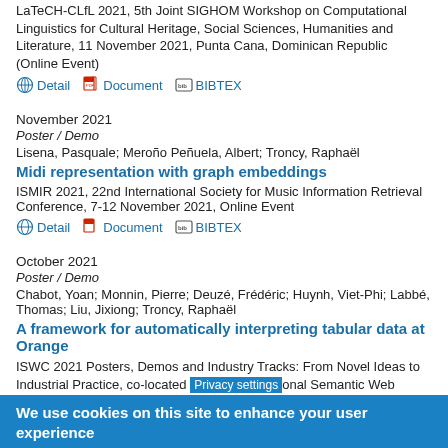LaTeCH-CLfL 2021, 5th Joint SIGHOM Workshop on Computational Linguistics for Cultural Heritage, Social Sciences, Humanities and Literature, 11 November 2021, Punta Cana, Dominican Republic (Online Event)
Detail  Document  BIBTEX
November 2021
Poster / Demo
Lisena, Pasquale; Meroño Peñuela, Albert; Troncy, Raphaël
Midi representation with graph embeddings
ISMIR 2021, 22nd International Society for Music Information Retrieval Conference, 7-12 November 2021, Online Event
Detail  Document  BIBTEX
October 2021
Poster / Demo
Chabot, Yoan; Monnin, Pierre; Deuzé, Frédéric; Huynh, Viet-Phi; Labbé, Thomas; Liu, Jixiong; Troncy, Raphaël
A framework for automatically interpreting tabular data at Orange
ISWC 2021 Posters, Demos and Industry Tracks: From Novel Ideas to Industrial Practice, co-located ... International Semantic Web Conference, Vol 2980, 24-28 ... (Online Conference)
We use cookies on this site to enhance your user experience